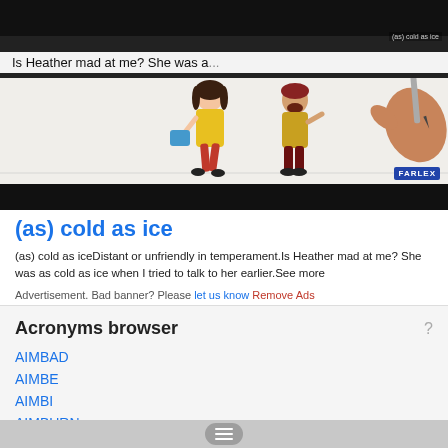[Figure (screenshot): Video player showing animation with hand writing, subtitle bar reading 'Is Heather mad at me? She was a...' and overlay text '(as) cold as ice', with Farlex logo and black bar at bottom]
(as) cold as ice
(as) cold as iceDistant or unfriendly in temperament.Is Heather mad at me? She was as cold as ice when I tried to talk to her earlier.See more
Advertisement. Bad banner? Please let us know Remove Ads
Acronyms browser
AIMBAD
AIMBE
AIMBI
AIMBURN